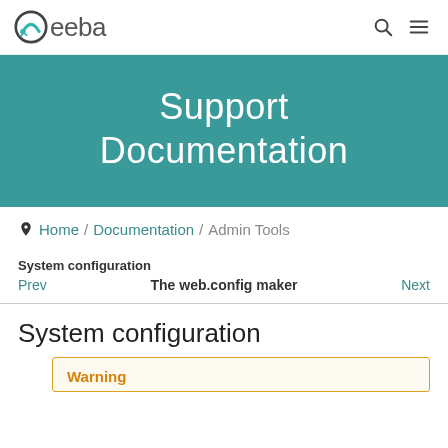Akeeba — Support Documentation
Support Documentation
Home / Documentation / Admin Tools
System configuration
Prev    The web.config maker    Next
System configuration
Warning